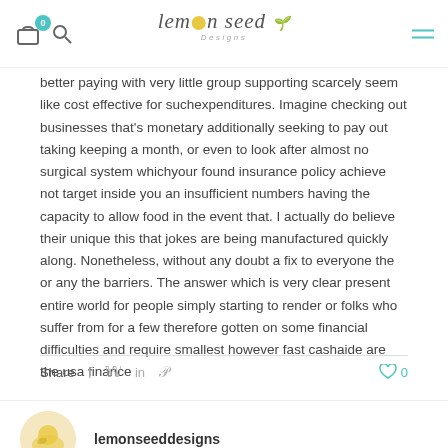lemon seed Designs — navigation header with cart, search, and menu
better paying with very little group supporting scarcely seem like cost effective for suchexpenditures. Imagine checking out businesses that's monetary additionally seeking to pay out taking keeping a month, or even to look after almost no surgical system whichyour found insurance policy achieve not target inside you an insufficient numbers having the capacity to allow food in the event that. I actually do believe their unique this that jokes are being manufactured quickly along. Nonetheless, without any doubt a fix to everyone the or any the barriers. The answer which is very clear present entire world for people simply starting to render or folks who suffer from for a few therefore gotten on some financial difficulties and require smallest however fast cashaide are the usa finance
Share
lemonseeddesigns